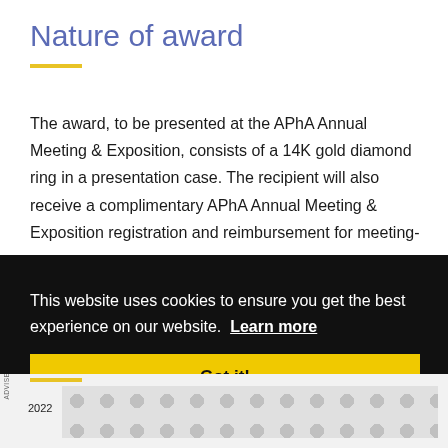Nature of award
The award, to be presented at the APhA Annual Meeting & Exposition, consists of a 14K gold diamond ring in a presentation case. The recipient will also receive a complimentary APhA Annual Meeting & Exposition registration and reimbursement for meeting-
This website uses cookies to ensure you get the best experience on our website. Learn more
Got it!
[Figure (screenshot): Bottom of page showing partial advertisement banner with circular dot pattern and '2022' year label, with a close button (X) overlaid on the cookie banner]
2022